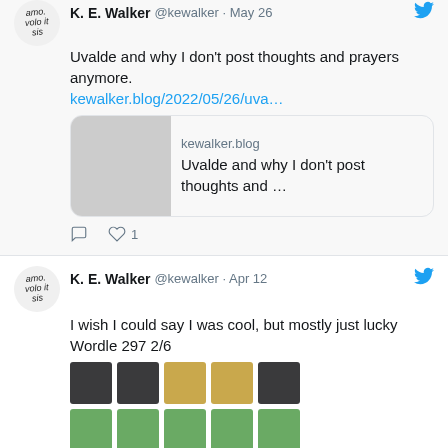[Figure (screenshot): Partial tweet from K. E. Walker (@kewalker, May 26) about Uvalde and why I don't post thoughts and prayers anymore, with a link preview to kewalker.blog]
kewalker.blog/2022/05/26/uva…
kewalker.blog
Uvalde and why I don't post thoughts and …
♡ 1
K. E. Walker @kewalker · Apr 12
I wish I could say I was cool, but mostly just lucky
Wordle 297 2/6
[Figure (screenshot): Wordle 297 2/6 grid: row 1 dark dark yellow yellow dark; row 2 green green green green green]
K. E. Walker @kewalker · Mar 28